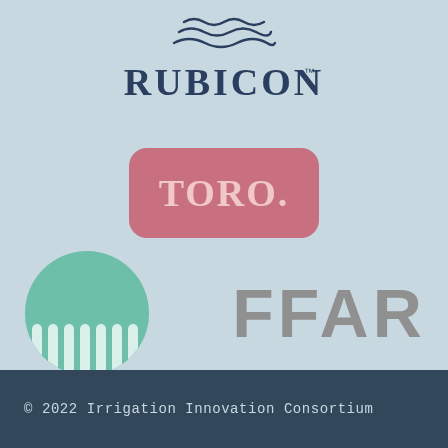[Figure (logo): Rubicon logo with wavy lines above text 'RUBICON' with trademark symbol, in dark navy blue]
[Figure (logo): Toro logo: rounded rectangle with rose/pink background and 'TORO.' text in light pink serif font]
[Figure (logo): FFAR logo: teal/mint circle with white vertical stripe lines on left side, and large gray bold text 'FFAR' on right]
© 2022 Irrigation Innovation Consortium